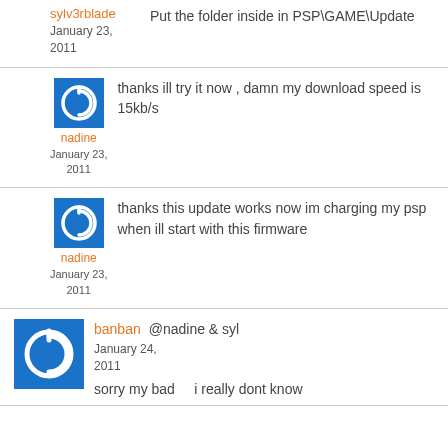sylv3rblade
January 23, 2011
Put the folder inside in PSP\GAME\Update
nadine
January 23, 2011
thanks ill try it now , damn my download speed is 15kb/s
nadine
January 23, 2011
thanks this update works now im charging my psp when ill start with this firmware
banban
January 24, 2011
@nadine & syl
sorry my bad    i really dont know